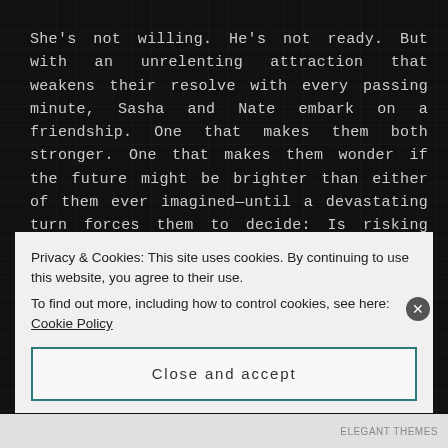She's not willing. He's not ready. But with an unrelenting attraction that weakens their resolve with every passing minute, Sasha and Nate embark on a friendship. One that makes them both stronger. One that makes them wonder if the future might be brighter than either of them ever imagined—until a devastating turn forces them to decide: Is risking everything for love is worth the pain of losing it long before they're ready?
Preorder Your Copy Today!
Privacy & Cookies: This site uses cookies. By continuing to use this website, you agree to their use.
To find out more, including how to control cookies, see here: Cookie Policy
Close and accept